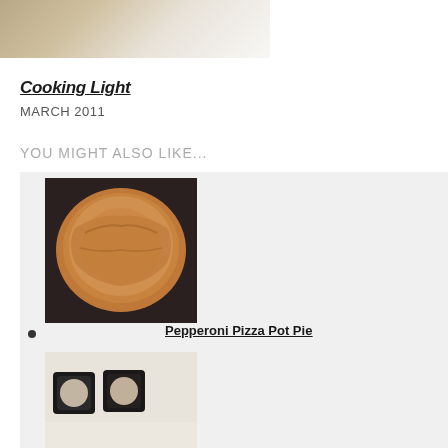[Figure (photo): Top portion of a food photo showing a plate or dish, cropped]
Cooking Light
MARCH 2011
YOU MIGHT ALSO LIKE...
[Figure (photo): Pepperoni Pizza Pot Pie in a cast iron skillet with golden-brown crust]
Pepperoni Pizza Pot Pie
[Figure (photo): Sushi rolls on a white plate]